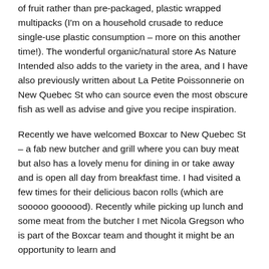of fruit rather than pre-packaged, plastic wrapped multipacks (I'm on a household crusade to reduce single-use plastic consumption – more on this another time!). The wonderful organic/natural store As Nature Intended also adds to the variety in the area, and I have also previously written about La Petite Poissonnerie on New Quebec St who can source even the most obscure fish as well as advise and give you recipe inspiration.
Recently we have welcomed Boxcar to New Quebec St – a fab new butcher and grill where you can buy meat but also has a lovely menu for dining in or take away and is open all day from breakfast time. I had visited a few times for their delicious bacon rolls (which are sooooo goooood). Recently while picking up lunch and some meat from the butcher I met Nicola Gregson who is part of the Boxcar team and thought it might be an opportunity to learn and